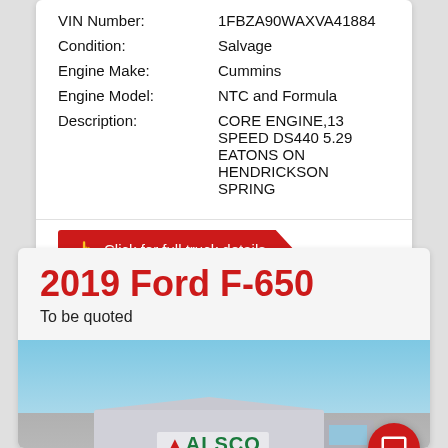| VIN Number: | 1FBZA90WAXVA41884 |
| Condition: | Salvage |
| Engine Make: | Cummins |
| Engine Model: | NTC and Formula |
| Description: | CORE ENGINE,13 SPEED DS440 5.29 EATONS ON HENDRICKSON SPRING |
Click for full truck details
2019 Ford F-650
To be quoted
[Figure (photo): Photo of a large truck with ALSCO branding on the trailer, viewed from the side with a blue sky background.]